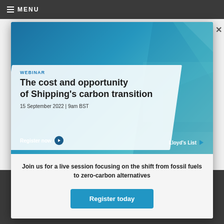MENU
[Figure (screenshot): Webinar advertisement banner for Lloyd's List: 'The cost and opportunity of Shipping's carbon transition', 15 September 2022 | 9am BST. Register now button. Lloyd's List logo.]
Join us for a live session focusing on the shift from fossil fuels to zero-carbon alternatives
Register today
Insurance Day
Lloyd's List Intelligence Seasearcher